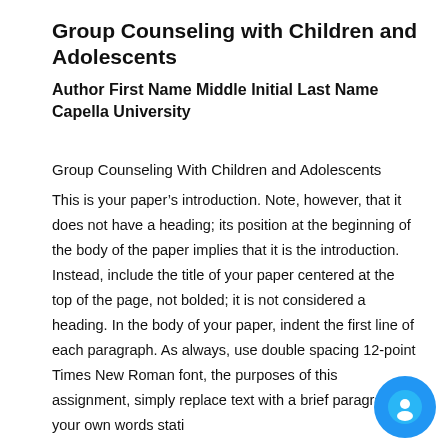Group Counseling with Children and Adolescents
Author First Name Middle Initial Last Name
Capella University
Group Counseling With Children and Adolescents
This is your paper’s introduction. Note, however, that it does not have a heading; its position at the beginning of the body of the paper implies that it is the introduction. Instead, include the title of your paper centered at the top of the page, not bolded; it is not considered a heading. In the body of your paper, indent the first line of each paragraph. As always, use double spacing 12-point Times New Roman font, the purposes of this assignment, simply replace text with a brief paragraph in your own words stating that this paper...